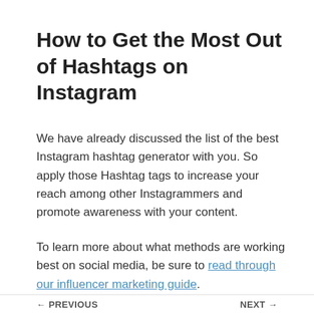How to Get the Most Out of Hashtags on Instagram
We have already discussed the list of the best Instagram hashtag generator with you. So apply those Hashtag tags to increase your reach among other Instagrammers and promote awareness with your content.
To learn more about what methods are working best on social media, be sure to read through our influencer marketing guide.
← PREVIOUS    NEXT →